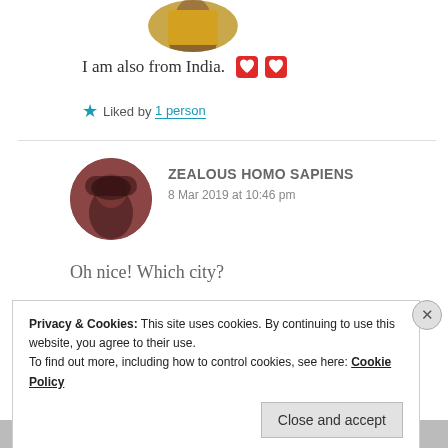[Figure (photo): Circular avatar photo of a person in yellow/gold clothing, partially cropped at top]
I am also from India. ❤️❤️
★ Liked by 1 person
[Figure (photo): Circular avatar photo of a person with dark hair against a dusky rose/brown background]
ZEALOUS HOMO SAPIENS
8 Mar 2019 at 10:46 pm
Oh nice! Which city?
Privacy & Cookies: This site uses cookies. By continuing to use this website, you agree to their use.
To find out more, including how to control cookies, see here: Cookie Policy
Close and accept